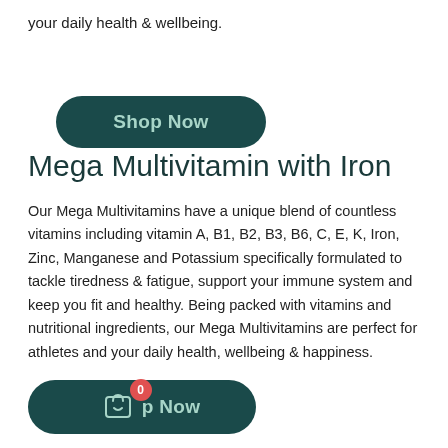your daily health & wellbeing.
[Figure (other): Dark teal rounded button with text 'Shop Now' in light teal color]
Mega Multivitamin with Iron
Our Mega Multivitamins have a unique blend of countless vitamins including vitamin A, B1, B2, B3, B6, C, E, K, Iron, Zinc, Manganese and Potassium specifically formulated to tackle tiredness & fatigue, support your immune system and keep you fit and healthy. Being packed with vitamins and nutritional ingredients, our Mega Multivitamins are perfect for athletes and your daily health, wellbeing & happiness.
[Figure (other): Dark teal rounded button with shopping bag icon and badge showing 0, with text 'p Now' in light teal color]